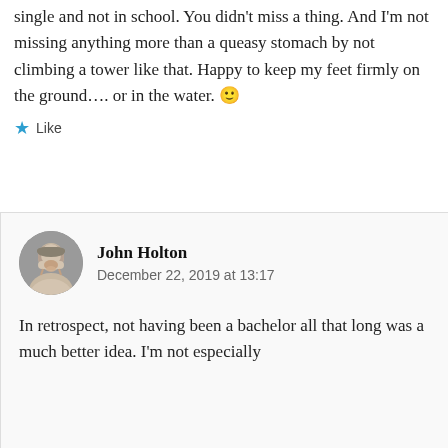single and not in school. You didn't miss a thing. And I'm not missing anything more than a queasy stomach by not climbing a tower like that. Happy to keep my feet firmly on the ground.... or in the water. 🙂
★ Like
John Holton
December 22, 2019 at 13:17
In retrospect, not having been a bachelor all that long was a much better idea. I'm not especially